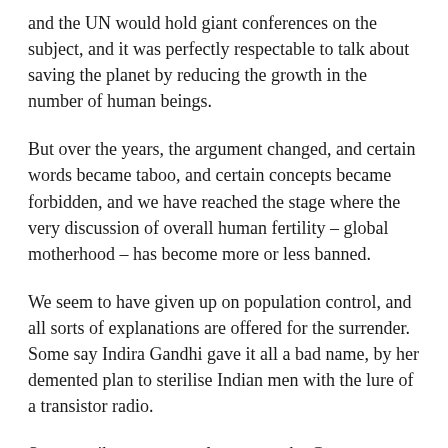and the UN would hold giant conferences on the subject, and it was perfectly respectable to talk about saving the planet by reducing the growth in the number of human beings.
But over the years, the argument changed, and certain words became taboo, and certain concepts became forbidden, and we have reached the stage where the very discussion of overall human fertility – global motherhood – has become more or less banned.
We seem to have given up on population control, and all sorts of explanations are offered for the surrender. Some say Indira Gandhi gave it all a bad name, by her demented plan to sterilise Indian men with the lure of a transistor radio.
Some attribute our complacency to the Green Revolution, which seemed to prove Malthus wrong. It became the received wisdom that the world's population could rise to umpteen billions, as mankind learnt to make several ears of corn grow